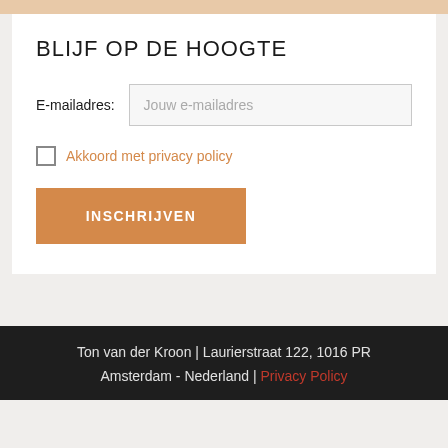BLIJF OP DE HOOGTE
E-mailadres: Jouw e-mailadres
Akkoord met privacy policy
INSCHRIJVEN
Ton van der Kroon | Laurierstraat 122, 1016 PR Amsterdam - Nederland | Privacy Policy